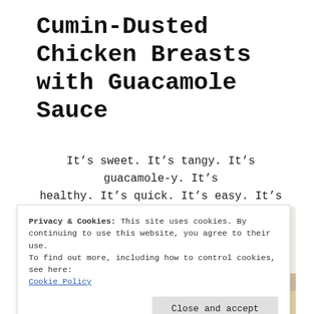Cumin-Dusted Chicken Breasts with Guacamole Sauce
It’s sweet. It’s tangy. It’s guacamole-y. It’s healthy. It’s quick. It’s easy. It’s delicious.
[Figure (photo): Photo of a dish: chicken with guacamole sauce, partially visible with a light cream/beige background at top and colorful food at bottom.]
Privacy & Cookies: This site uses cookies. By continuing to use this website, you agree to their use.
To find out more, including how to control cookies, see here:
Cookie Policy
Close and accept